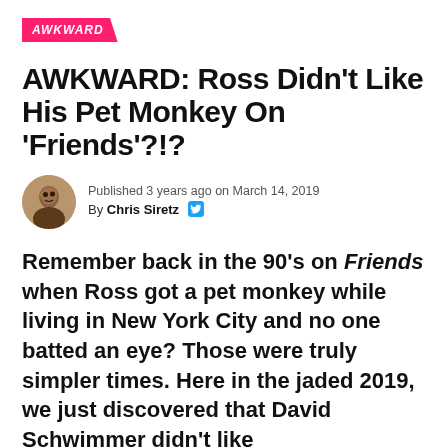AWKWARD
AWKWARD: Ross Didn't Like His Pet Monkey On 'Friends'?!?
Published 3 years ago on March 14, 2019
By Chris Siretz
Remember back in the 90's on Friends when Ross got a pet monkey while living in New York City and no one batted an eye? Those were truly simpler times. Here in the jaded 2019, we just discovered that David Schwimmer didn't like